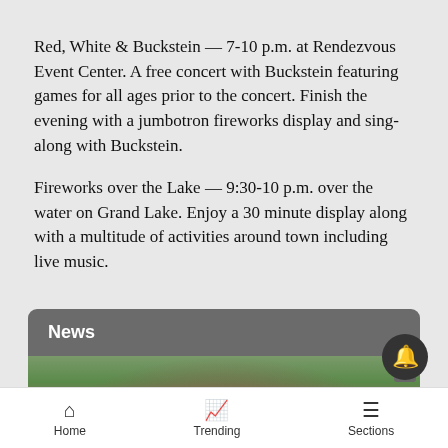Red, White & Buckstein — 7-10 p.m. at Rendezvous Event Center. A free concert with Buckstein featuring games for all ages prior to the concert. Finish the evening with a jumbotron fireworks display and sing-along with Buckstein.
Fireworks over the Lake — 9:30-10 p.m. over the water on Grand Lake. Enjoy a 30 minute display along with a multitude of activities around town including live music.
News
[Figure (photo): Advertisement banner showing a woman with red lips and forest background with Macy's 'Kiss Boring Lips Goodbye' promotion]
Home | Trending | Sections